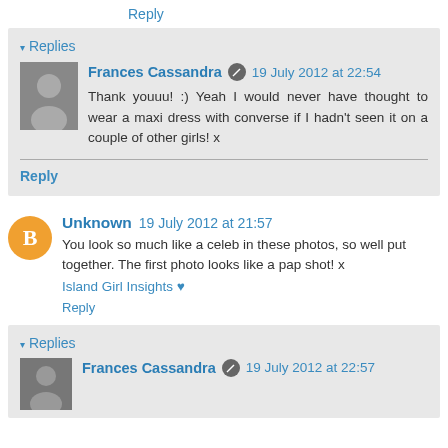Reply
▾ Replies
Frances Cassandra  19 July 2012 at 22:54
Thank youuu! :) Yeah I would never have thought to wear a maxi dress with converse if I hadn't seen it on a couple of other girls! x
Reply
Unknown  19 July 2012 at 21:57
You look so much like a celeb in these photos, so well put together. The first photo looks like a pap shot! x
Island Girl Insights ♥
Reply
▾ Replies
Frances Cassandra  19 July 2012 at 22:57